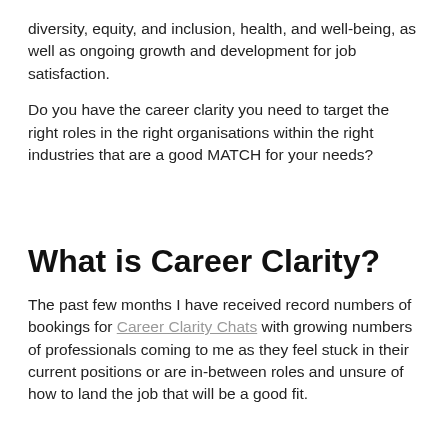diversity, equity, and inclusion, health, and well-being, as well as ongoing growth and development for job satisfaction.
Do you have the career clarity you need to target the right roles in the right organisations within the right industries that are a good MATCH for your needs?
What is Career Clarity?
The past few months I have received record numbers of bookings for Career Clarity Chats with growing numbers of professionals coming to me as they feel stuck in their current positions or are in-between roles and unsure of how to land the job that will be a good fit.